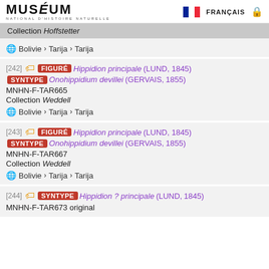MUSÉUM NATIONAL D'HISTOIRE NATURELLE | FRANÇAIS
Collection Hoffstetter
🌐 Bolivie > Tarija > Tarija
[242] FIGURÉ Hippidion principale (LUND, 1845) SYNTYPE Onohippidium devillei (GERVAIS, 1855) MNHN-F-TAR665 Collection Weddell 🌐 Bolivie > Tarija > Tarija
[243] FIGURÉ Hippidion principale (LUND, 1845) SYNTYPE Onohippidium devillei (GERVAIS, 1855) MNHN-F-TAR667 Collection Weddell 🌐 Bolivie > Tarija > Tarija
[244] SYNTYPE Hippidion ? principale (LUND, 1845) MNHN-F-TAR673 original